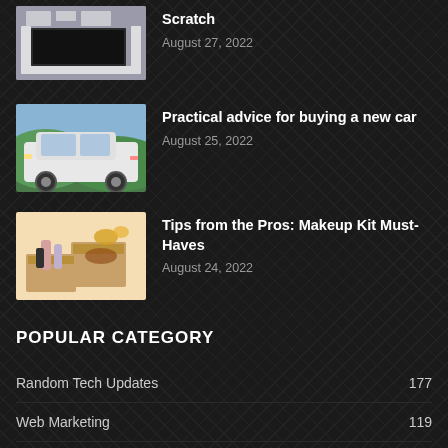[Figure (photo): Living room with TV on wall shelf unit — partially visible at top]
Scratch
August 27, 2022
[Figure (photo): White SUV (Toyota Land Cruiser) on a road with green hills background]
Practical advice for buying a new car
August 25, 2022
[Figure (photo): Makeup kit items including boxes, bottles, and beauty products on a light background]
Tips from the Pros: Makeup Kit Must-Haves
August 24, 2022
POPULAR CATEGORY
Random Tech Updates 177
Web Marketing 119